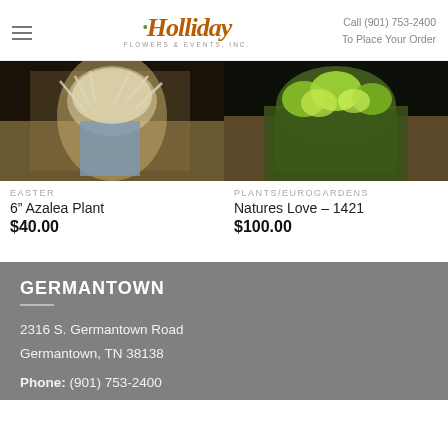Holliday Flowers & Events Inc. | Call (901) 753-2400 To Place Your Order
[Figure (photo): Photo of a floral arrangement with a white mesh bow and blue vase, Easter product]
EASTER
6" Azalea Plant
$40.00
[Figure (photo): Photo of a green moss-covered container with tropical plants inside, Plants/Eurogardens product]
PLANTS/EUROGARDENS
Natures Love – 1421
$100.00
GERMANTOWN
2316 S. Germantown Road
Germantown, TN 38138
Phone: (901) 753-2400